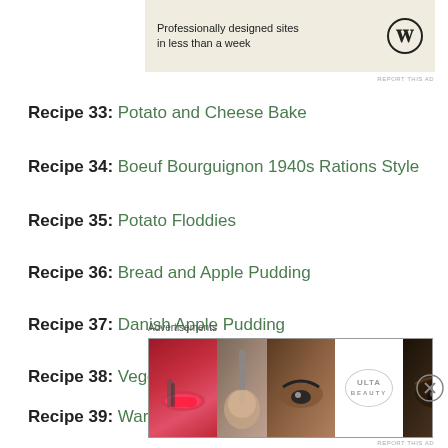[Figure (other): WordPress advertisement banner: 'Professionally designed sites in less than a week' with WordPress logo]
REPORT THIS AD
Recipe 33: Potato and Cheese Bake
Recipe 34: Boeuf Bourguignon 1940s Rations Style
Recipe 35: Potato Floddies
Recipe 36: Bread and Apple Pudding
Recipe 37: Danish Apple Pudding
Recipe 38: Vegetable Stew
Recipe 39: Wartime Welsh Cakes
Advertisements
[Figure (other): Ulta Beauty advertisement banner with makeup/beauty imagery and 'SHOP NOW' call to action]